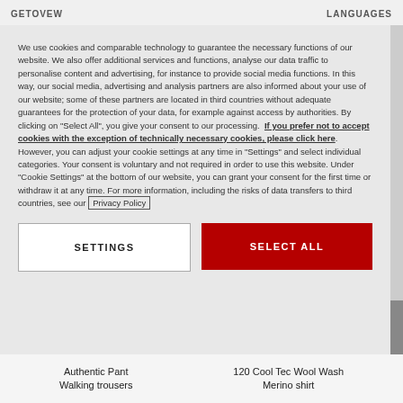GETOVEW ... LANGUAGES
We use cookies and comparable technology to guarantee the necessary functions of our website. We also offer additional services and functions, analyse our data traffic to personalise content and advertising, for instance to provide social media functions. In this way, our social media, advertising and analysis partners are also informed about your use of our website; some of these partners are located in third countries without adequate guarantees for the protection of your data, for example against access by authorities. By clicking on "Select All", you give your consent to our processing. If you prefer not to accept cookies with the exception of technically necessary cookies, please click here. However, you can adjust your cookie settings at any time in "Settings" and select individual categories. Your consent is voluntary and not required in order to use this website. Under "Cookie Settings" at the bottom of our website, you can grant your consent for the first time or withdraw it at any time. For more information, including the risks of data transfers to third countries, see our Privacy Policy
SETTINGS
SELECT ALL
Authentic Pant Walking trousers
120 Cool Tec Wool Wash Merino shirt